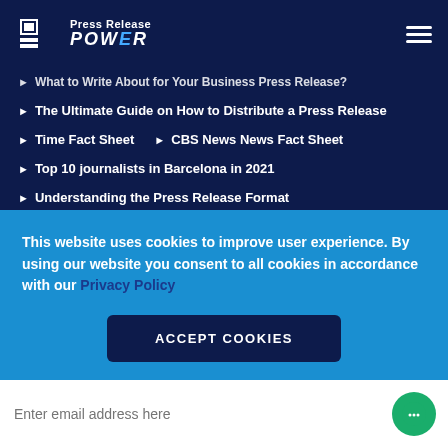Press Release POWER
What to Write About for Your Business Press Release?
The Ultimate Guide on How to Distribute a Press Release
Time Fact Sheet    CBS News News Fact Sheet
Top 10 journalists in Barcelona in 2021
Understanding the Press Release Format
All Tips & Guide    All Press Release
All Video Press Release    Unlimited Press Release
This website uses cookies to improve user experience. By using our website you consent to all cookies in accordance with our Privacy Policy
ACCEPT COOKIES
Enter email address here